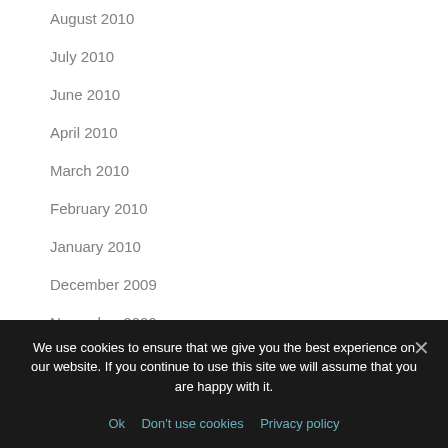August 2010
July 2010
June 2010
April 2010
March 2010
February 2010
January 2010
December 2009
November 2009
October 2009
September 2009
We use cookies to ensure that we give you the best experience on our website. If you continue to use this site we will assume that you are happy with it.
Ok   Don't use cookies   Privacy policy